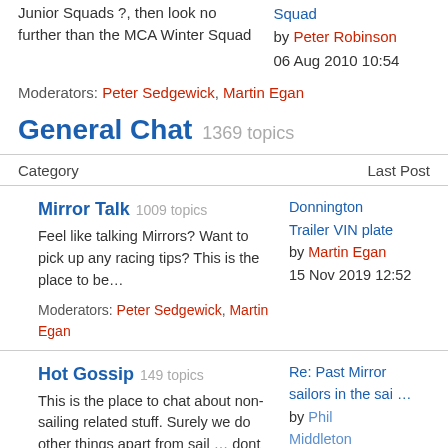Want to stick with Mirrors after the RYA Junior Squads ?, then look no further than the MCA Winter Squad
Squad
by Peter Robinson
06 Aug 2010 10:54
Moderators: Peter Sedgewick, Martin Egan
General Chat 1369 topics
Category
Last Post
Mirror Talk 1009 topics
Feel like talking Mirrors? Want to pick up any racing tips? This is the place to be...
Moderators: Peter Sedgewick, Martin Egan
Donnington Trailer VIN plate
by Martin Egan
15 Nov 2019 12:52
Hot Gossip 149 topics
This is the place to chat about non-sailing related stuff. Surely we do other things apart from sail ... dont we?
Moderators: Peter Sedgewick, Martin Egan
Re: Past Mirror sailors in the sai ...
by Phil Middleton
27 Sep 2012 18:44